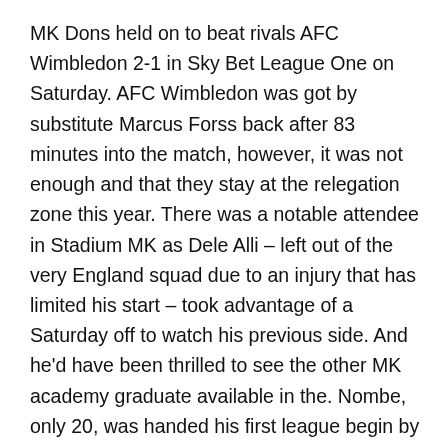MK Dons held on to beat rivals AFC Wimbledon 2-1 in Sky Bet League One on Saturday. AFC Wimbledon was got by substitute Marcus Forss back after 83 minutes into the match, however, it was not enough and that they stay at the relegation zone this year. There was a notable attendee in Stadium MK as Dele Alli – left out of the very England squad due to an injury that has limited his start – took advantage of a Saturday off to watch his previous side. And he'd have been thrilled to see the other MK academy graduate available in the. Nombe, only 20, was handed his first league begin by Paul Tisdale following three targets in cup competitions this year, including two at Stevenage